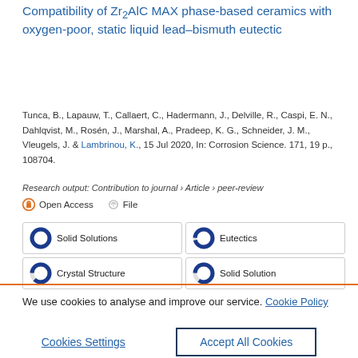Compatibility of Zr2AlC MAX phase-based ceramics with oxygen-poor, static liquid lead–bismuth eutectic
Tunca, B., Lapauw, T., Callaert, C., Hadermann, J., Delville, R., Caspi, E. N., Dahlqvist, M., Rosén, J., Marshal, A., Pradeep, K. G., Schneider, J. M., Vleugels, J. & Lambrinou, K., 15 Jul 2020, In: Corrosion Science. 171, 19 p., 108704.
Research output: Contribution to journal › Article › peer-review
Open Access   File
Solid Solutions
Eutectics
Crystal Structure
Solid Solution
We use cookies to analyse and improve our service. Cookie Policy
Cookies Settings
Accept All Cookies